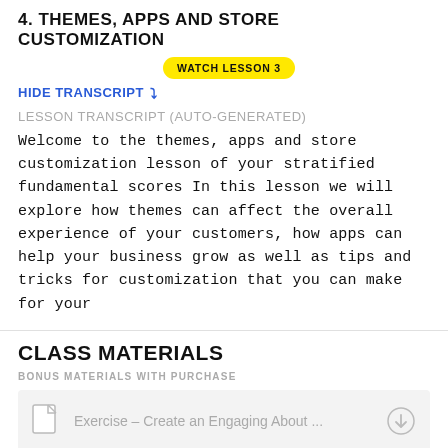4. THEMES, APPS AND STORE CUSTOMIZATION
[Figure (other): Yellow pill-shaped button labeled WATCH LESSON 3]
HIDE TRANSCRIPT ▾
LESSON TRANSCRIPT (auto-generated)
Welcome to the themes, apps and store customization lesson of your stratified fundamental scores In this lesson we will explore how themes can affect the overall experience of your customers, how apps can help your business grow as well as tips and tricks for customization that you can make for your
CLASS MATERIALS
BONUS MATERIALS WITH PURCHASE
Exercise – Create an Engaging About ...
More Recourses Part 1